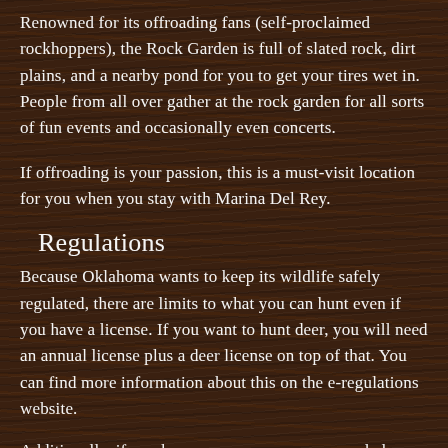Renowned for its offroading fans (self-proclaimed rockhoppers), the Rock Garden is full of slated rock, dirt plains, and a nearby pond for you to get your tires wet in. People from all over gather at the rock garden for all sorts of fun events and occasionally even concerts.
If offroading is your passion, this is a must-visit location for you when you stay with Marina Del Rey.
Regulations
Because Oklahoma wants to keep its wildlife safely regulated, there are limits to what you can hunt even if you have a license. If you want to hunt deer, you will need an annual license plus a deer license on top of that. You can find more information about this on the e-regulations website.
Additionally, if you have an open carry or concealed carry